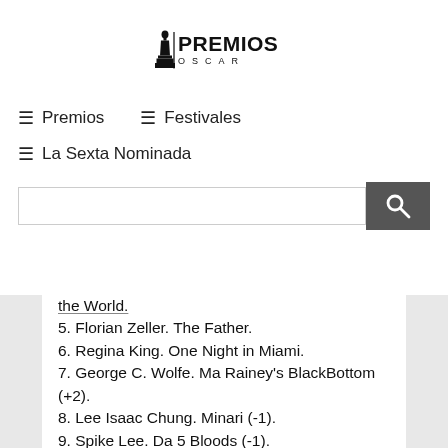[Figure (logo): Premios Oscar logo with Oscar statuette and stylized text PREMIOS OSCAR]
≡ Premios
≡ Festivales
≡ La Sexta Nominada
the World.
5. Florian Zeller. The Father.
6. Regina King. One Night in Miami.
7. George C. Wolfe. Ma Rainey's BlackBottom (+2).
8. Lee Isaac Chung. Minari (-1).
9. Spike Lee. Da 5 Bloods (-1).
10. Lee Daniels. The United